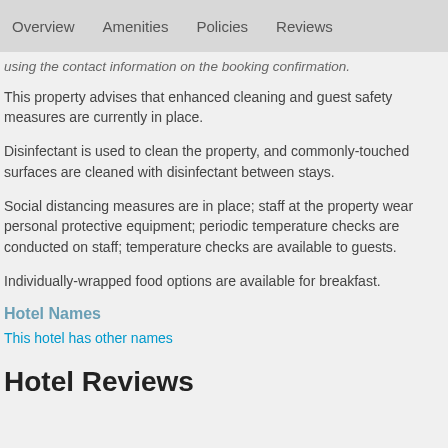Overview   Amenities   Policies   Reviews
using the contact information on the booking confirmation.
This property advises that enhanced cleaning and guest safety measures are currently in place.
Disinfectant is used to clean the property, and commonly-touched surfaces are cleaned with disinfectant between stays.
Social distancing measures are in place; staff at the property wear personal protective equipment; periodic temperature checks are conducted on staff; temperature checks are available to guests.
Individually-wrapped food options are available for breakfast.
Hotel Names
This hotel has other names
Hotel Reviews